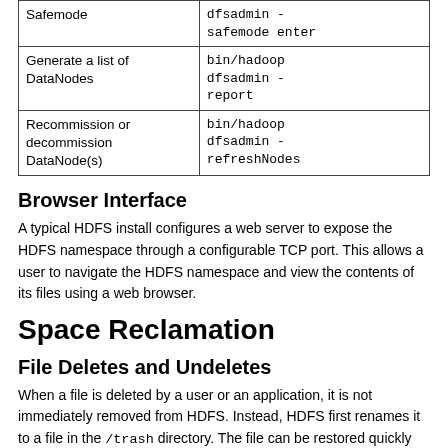|  |  |
| --- | --- |
| Safemode | dfsadmin -safemode enter |
| Generate a list of DataNodes | bin/hadoop dfsadmin -report |
| Recommission or decommission DataNode(s) | bin/hadoop dfsadmin -refreshNodes |
Browser Interface
A typical HDFS install configures a web server to expose the HDFS namespace through a configurable TCP port. This allows a user to navigate the HDFS namespace and view the contents of its files using a web browser.
Space Reclamation
File Deletes and Undeletes
When a file is deleted by a user or an application, it is not immediately removed from HDFS. Instead, HDFS first renames it to a file in the /trash directory. The file can be restored quickly as long as it